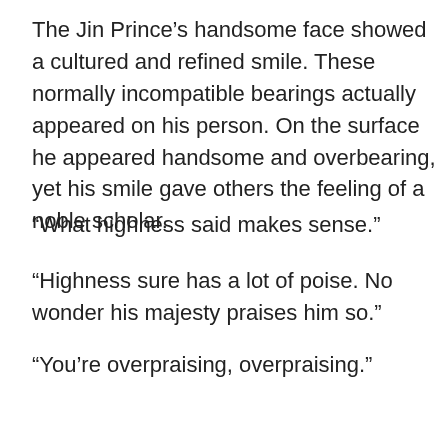The Jin Prince's handsome face showed a cultured and refined smile. These normally incompatible bearings actually appeared on his person. On the surface he appeared handsome and overbearing, yet his smile gave others the feeling of a noble scholar.
“What highness said makes sense.”
“Highness sure has a lot of poise. No wonder his majesty praises him so.”
“You’re overpraising, overpraising.”
[Figure (other): Petco advertisement banner: 'Your One-Stop Summer Pet Shop' with Petco logo, blue arrow icon, play and close controls]